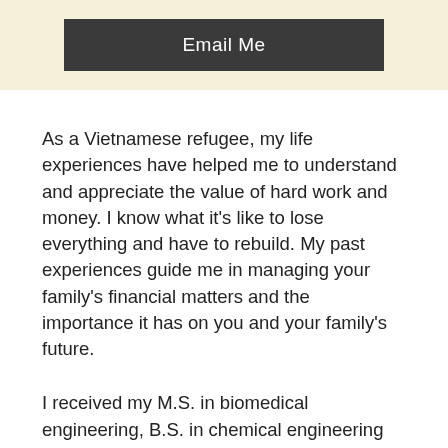[Figure (other): Dark button labeled 'Email Me' on a light yellow/cream background banner at the top of the page]
As a Vietnamese refugee, my life experiences have helped me to understand and appreciate the value of hard work and money. I know what it’s like to lose everything and have to rebuild. My past experiences guide me in managing your family’s financial matters and the importance it has on you and your family’s future.
I received my M.S. in biomedical engineering, B.S. in chemical engineering and B.S. in economics from the University of Minnesota. I co-authored two patents related to the mechanical fastening system on HUGGIES® diapers. I also hold the CFP® and AAMS®